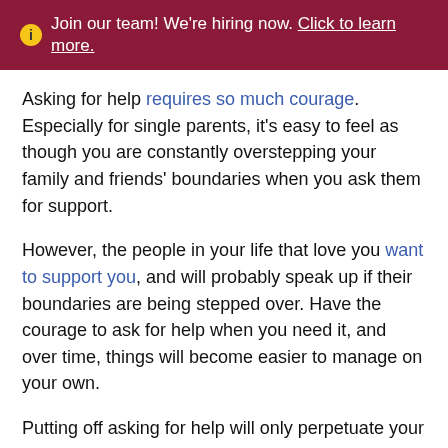ℹ Join our team! We're hiring now. Click to learn more.
Asking for help requires so much courage. Especially for single parents, it's easy to feel as though you are constantly overstepping your family and friends' boundaries when you ask them for support.
However, the people in your life that love you want to support you, and will probably speak up if their boundaries are being stepped over. Have the courage to ask for help when you need it, and over time, things will become easier to manage on your own.
Putting off asking for help will only perpetuate your fatigue. Start where you are, and be honest with yourself about when you are in need of support. Your needs matter just as much as anyone else's.
Single parents don't have to carry the burden of